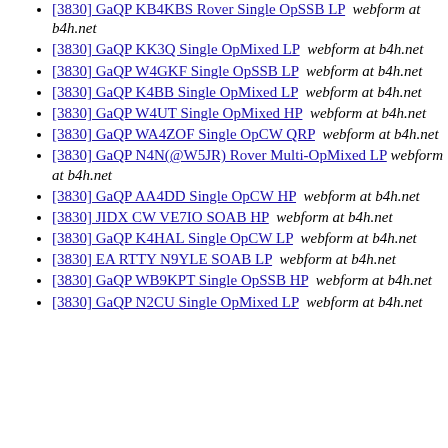[3830] GaQP KB4KBS Rover Single OpSSB LP  webform at b4h.net
[3830] GaQP KK3Q Single OpMixed LP  webform at b4h.net
[3830] GaQP W4GKF Single OpSSB LP  webform at b4h.net
[3830] GaQP K4BB Single OpMixed LP  webform at b4h.net
[3830] GaQP W4UT Single OpMixed HP  webform at b4h.net
[3830] GaQP WA4ZOF Single OpCW QRP  webform at b4h.net
[3830] GaQP N4N(@W5JR) Rover Multi-OpMixed LP  webform at b4h.net
[3830] GaQP AA4DD Single OpCW HP  webform at b4h.net
[3830] JIDX CW VE7IO SOAB HP  webform at b4h.net
[3830] GaQP K4HAL Single OpCW LP  webform at b4h.net
[3830] EA RTTY N9YLE SOAB LP  webform at b4h.net
[3830] GaQP WB9KPT Single OpSSB HP  webform at b4h.net
[3830] GaQP N2CU Single OpMixed LP  webform at b4h.net